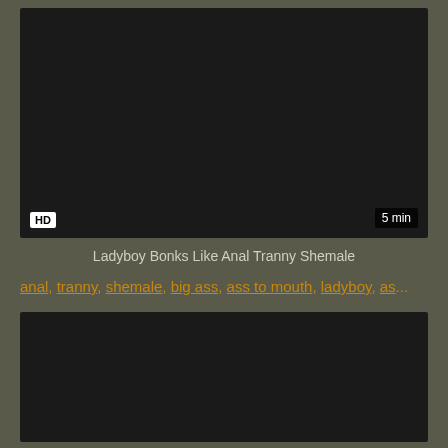[Figure (screenshot): Dark video thumbnail placeholder with HD badge and 5 min duration badge]
Ladyboy Bonks Like Anal Tranny Shemale
anal, tranny, shemale, big ass, ass to mouth, ladyboy, as...
[Figure (screenshot): Second dark video thumbnail placeholder]